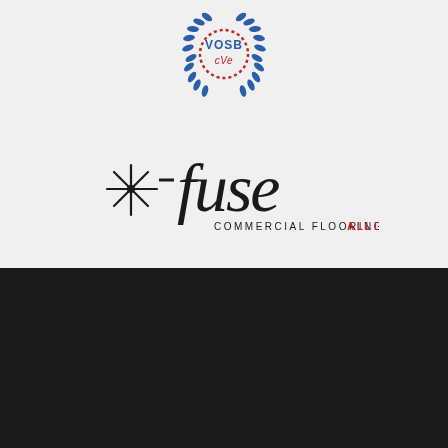[Figure (logo): VOSB CVE emblem — blue laurel wreath with red stitched circle, 'VOSB' in blue text and 'cVe' in red text in center]
[Figure (logo): Fuse Commercial Flooring Alliance logo — stylized asterisk/spark graphic in black beside italic 'fuse' text, with 'COMMERCIAL FLOORING ALLIANCE' in smaller text where ALLIANCE is in red]
[Figure (logo): The Tool Locker logo on black background — 'THE' above 'TOOL LOCKER' in bold white text with registered trademark symbol, tagline 'The right tools for your trade.' in italic gray text with 'your' underlined]
Newsletter Subscription
Get the latest deals and updates from The Tool Locker